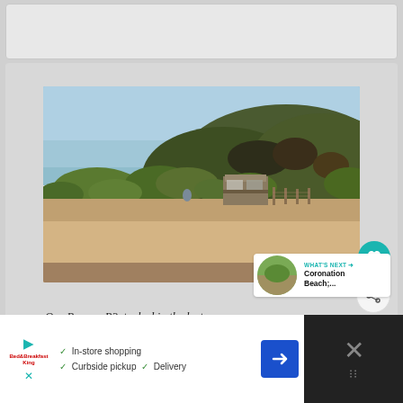[Figure (photo): Empty card/placeholder at top of page]
[Figure (photo): Outdoor landscape photo showing a sandy beach foreground with scrubby green hillside in background, and a caravan/RV (Reconn R2) tucked near the hill. Blue sky above. Heart/like teal button and share button visible on right side.]
WHAT'S NEXT → Coronation Beach;...
Our Reconn R2, tucked in the last camp...
In-store shopping  Curbside pickup  Delivery